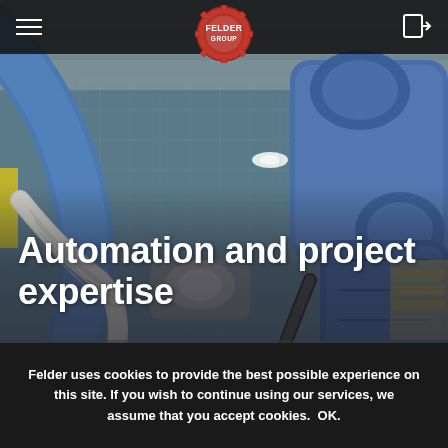[Figure (photo): Industrial robotic arm (blue) in a factory/warehouse setting with pipes and machinery in the background. Felder Group logo in top navigation bar.]
Automation and project expertise
Book a free consultation and take your first step
Felder uses cookies to provide the best possible experience on this site. If you wish to continue using our services, we assume that you accept cookies.  OK.